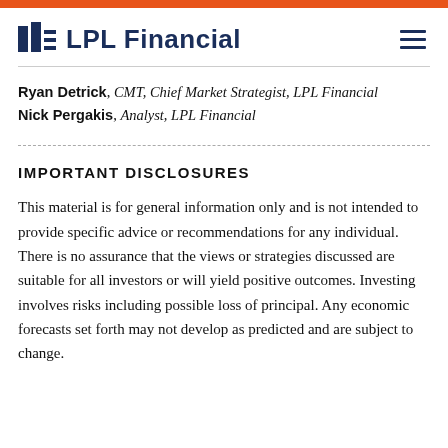LPL Financial
Ryan Detrick, CMT, Chief Market Strategist, LPL Financial
Nick Pergakis, Analyst, LPL Financial
IMPORTANT DISCLOSURES
This material is for general information only and is not intended to provide specific advice or recommendations for any individual. There is no assurance that the views or strategies discussed are suitable for all investors or will yield positive outcomes. Investing involves risks including possible loss of principal. Any economic forecasts set forth may not develop as predicted and are subject to change.